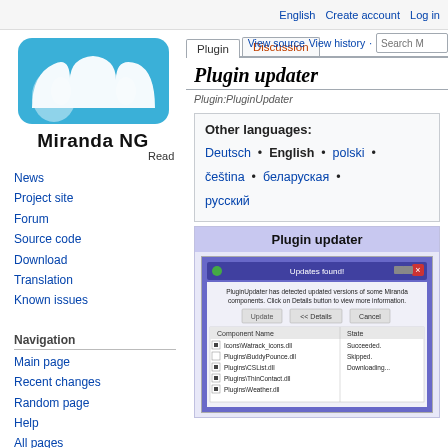English  Create account  Log in
[Figure (logo): Miranda NG logo - blue stylized M shape with white highlights, bold text 'Miranda NG' below]
Read
Plugin  Discussion
View source  View history  Search M
Plugin updater
Plugin:PluginUpdater
Other languages:
Deutsch • English • polski •
čeština • беларуская •
русский
News
Project site
Forum
Source code
Download
Translation
Known issues
Navigation
Main page
Recent changes
Random page
Help
All pages
[Figure (screenshot): Plugin updater dialog: Updates found! window showing Miranda NG plugin updater with component list including Icons/Watrack_icons.dll (Succeeded), Plugins/BuddyPounce.dll (Skipped), Plugins/CSList.dll (Downloading...), Plugins/ThinContact.dll, Plugins/Weather.dll]